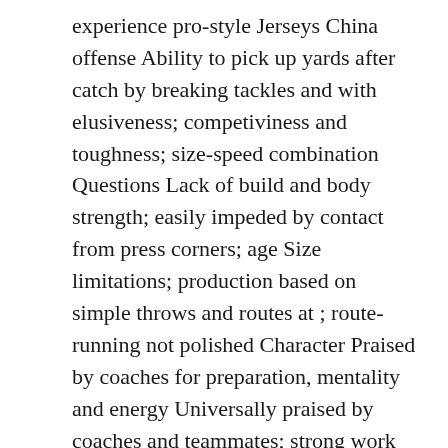experience pro-style Jerseys China offense Ability to pick up yards after catch by breaking tackles and with elusiveness; competiviness and toughness; size-speed combination Questions Lack of build and body strength; easily impeded by contact from press corners; age Size limitations; production based on simple throws and routes at ; route-running not polished Character Praised by coaches for preparation, mentality and energy Universally praised by coaches and teammates; strong work ethic PFF Stat 45-yard average on deep catches; averaged 6 YAC per reception Forced 39 missed tackles on 146 receptions Comparison Marvin Smith Sr. I've provided answers below. And he had 14 strength lifts.